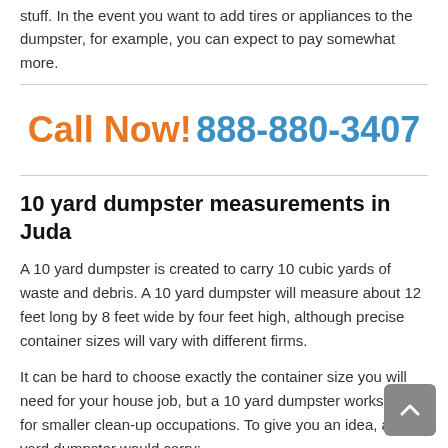stuff. In the event you want to add tires or appliances to the dumpster, for example, you can expect to pay somewhat more.
Call Now! 888-880-3407
10 yard dumpster measurements in Juda
A 10 yard dumpster is created to carry 10 cubic yards of waste and debris. A 10 yard dumpster will measure about 12 feet long by 8 feet wide by four feet high, although precise container sizes will vary with different firms.
It can be hard to choose exactly the container size you will need for your house job, but a 10 yard dumpster works well for smaller clean-up occupations. To give you an idea, a 10 yard dumpster would carry: